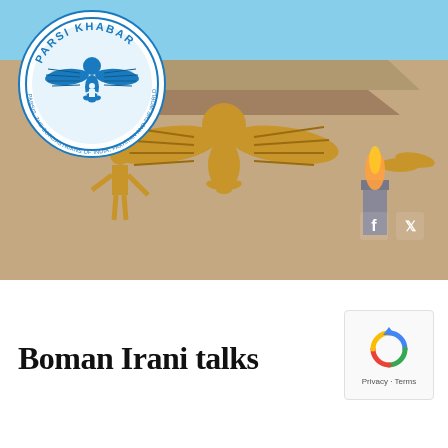[Figure (photo): Photograph of a Zoroastrian temple facade with golden Faravahar (winged deity) reliefs and human figure sculptures on stone walls, blue sky background]
[Figure (logo): Parsi Khabar circular logo in blue and white, featuring a Faravahar symbol, with text 'PARSI KHABAR' at top and 'PARSIS, THE ZOROASTRIANS OF INDIA, PAKISTAN AND THE WORLD' around the circle]
[Figure (other): reCAPTCHA widget showing the spinning arrows icon with 'Privacy - Terms' label below]
Boman Irani talks